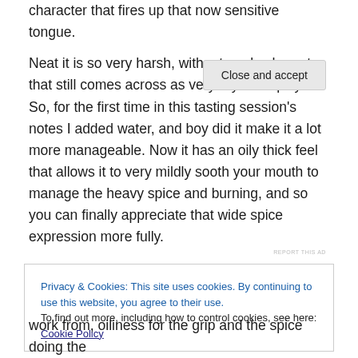character that fires up that now sensitive tongue.

Neat it is so very harsh, with a treacle character that still comes across as very dry and spicy. So, for the first time in this tasting session's notes I added water, and boy did it make it a lot more manageable. Now it has an oily thick feel that allows it to very mildly sooth your mouth to manage the heavy spice and burning, and so you can finally appreciate that wide spice expression more fully.
REPORT THIS AD
Privacy & Cookies: This site uses cookies. By continuing to use this website, you agree to their use.
To find out more, including how to control cookies, see here: Cookie Policy
Close and accept
work from, oiliness for the grip and the spice doing the